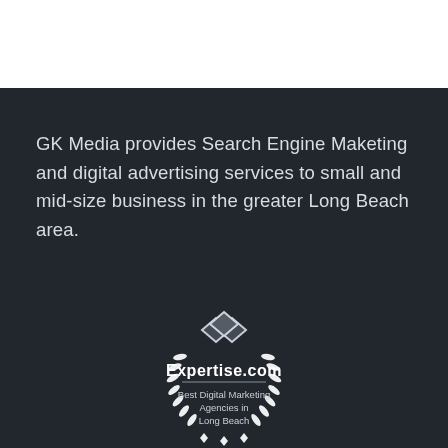GK Media provides Search Engine Maketing and digital advertising services to small and mid-size business in the greater Long Beach area.
[Figure (logo): Expertise.com badge — Best Digital Marketing Agencies in Long Beach, with laurel wreath and interlocking diamond logo mark]